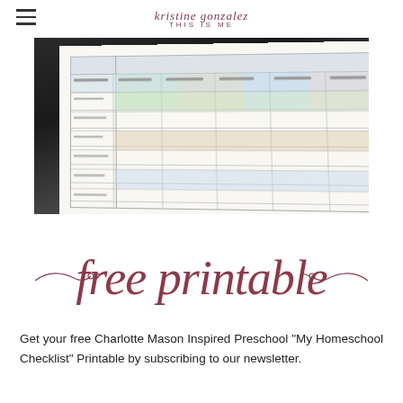kristine gonzalez — THIS IS ME
[Figure (photo): Photo of a homeschool checklist printable sheet with a grid/table layout on a white paper, placed on a dark surface, showing colorful highlighted rows for different subjects.]
[Figure (illustration): Decorative script text reading 'free printable' in dark rose/burgundy cursive lettering with ornamental swirl flourishes on either side.]
Get your free Charlotte Mason Inspired Preschool "My Homeschool Checklist" Printable by subscribing to our newsletter.